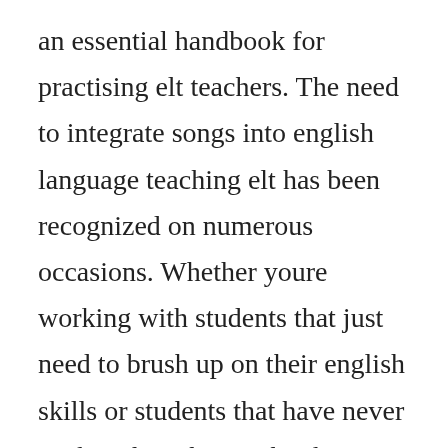an essential handbook for practising elt teachers. The need to integrate songs into english language teaching elt has been recognized on numerous occasions. Whether youre working with students that just need to brush up on their english skills or students that have never spoken the. This textbook is jampacked with activities and other fun resources that teachers can use to liven up their classrooms. Teaching english as a foreign languageroutledge education books.
Department of teaching, learning and teacher